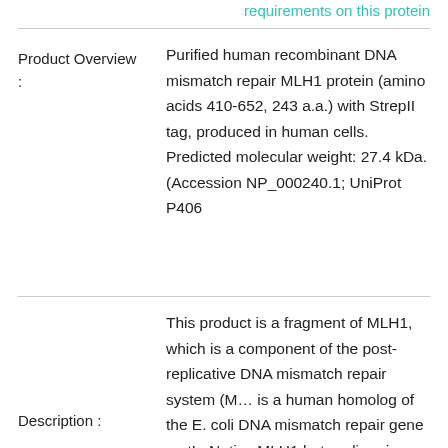requirements on this protein
Product Overview :
Purified human recombinant DNA mismatch repair MLH1 protein (amino acids 410-652, 243 a.a.) with StrepII tag, produced in human cells. Predicted molecular weight: 27.4 kDa. (Accession NP_000240.1; UniProt P406…
Description :
This product is a fragment of MLH1, which is a component of the post-replicative DNA mismatch repair system (M… is a human homolog of the E. coli DNA mismatch repair gene mutL. Native MLH1 heterodimerizes